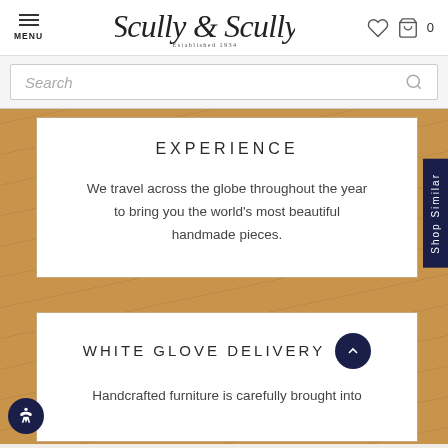MENU | Scully & Scully Established 1934 | [heart icon] [bag icon] 0
Search
EXPERIENCE
We travel across the globe throughout the year to bring you the world's most beautiful handmade pieces.
WHITE GLOVE DELIVERY
Handcrafted furniture is carefully brought into